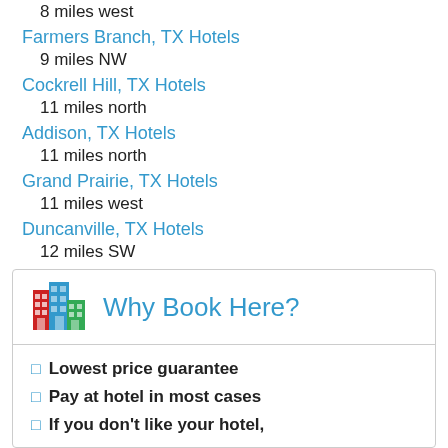8 miles west
Farmers Branch, TX Hotels
9 miles NW
Cockrell Hill, TX Hotels
11 miles north
Addison, TX Hotels
11 miles north
Grand Prairie, TX Hotels
11 miles west
Duncanville, TX Hotels
12 miles SW
Hutchins, TX Hotels
12 miles SE
Richardson, TX Hotels
12 miles NE
Why Book Here?
Lowest price guarantee
Pay at hotel in most cases
If you don't like your hotel,